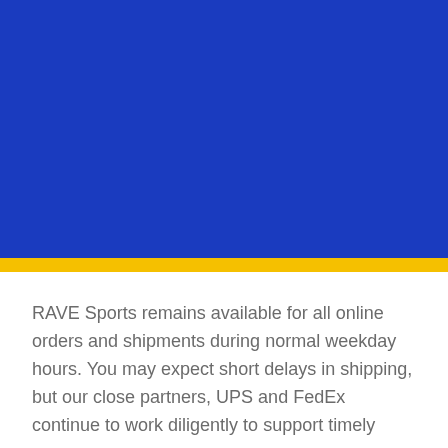[Figure (other): Large solid blue rectangle taking up the top portion of the page, with a gold/yellow horizontal stripe below it.]
RAVE Sports remains available for all online orders and shipments during normal weekday hours. You may expect short delays in shipping, but our close partners, UPS and FedEx continue to work diligently to support timely